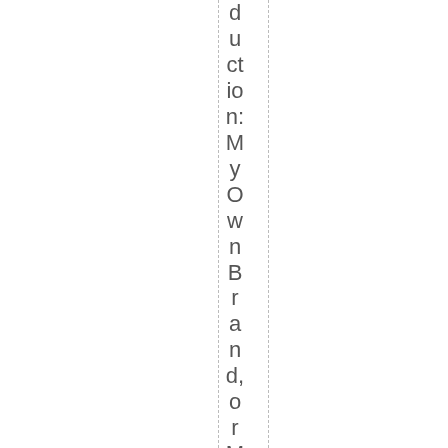duction: MyOwnBrand, or ModusOpe